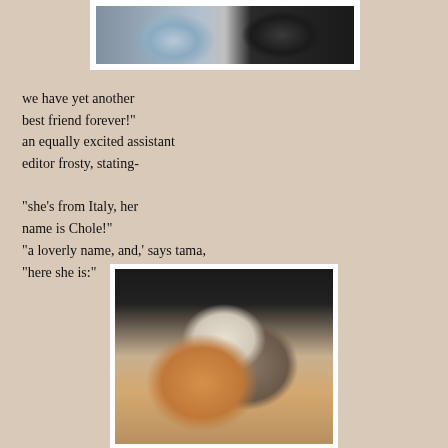[Figure (photo): Two cats side by side — a fluffy white/grey cat on the left and a black and white cat on the right, photographed from above]
we have yet another best friend forever!"
an equally excited assistant editor frosty, stating-

"she's from Italy, her name is Chole!"
"a loverly name, and,' says tama, "here she is:"
[Figure (photo): A calico kitten with orange, grey, and white markings looking directly at the camera against a dark background]